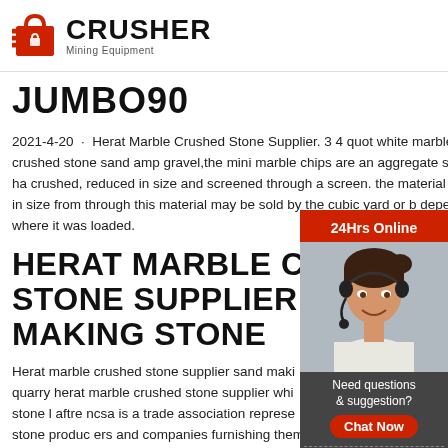[Figure (logo): Crusher Mining Equipment logo with red shopping bag icon and bold CRUSHER text]
JUMBO90
2021-4-20 · Herat Marble Crushed Stone Supplier. 3 4 quot white marble chips crushed stone sand amp gravel,the mini marble chips are an aggregate size that ha crushed, reduced in size and screened through a screen. the material ranges in size from through this material may be sold by the cubic yard or b depending on where it was loaded.
[Figure (photo): Woman with headset smiling, 24Hrs Online customer support widget with red banner, dark background with Need questions & suggestion? text, Chat Now button, Enquiry section, and limingjlmofen@sina.com email]
HERAT MARBLE CRUSHED STONE SUPPLIER SAND MAKING STONE
Herat marble crushed stone supplier sand making quarry herat marble crushed stone supplier white stone l aftre ncsa is a trade association representing stone produc ers and companies furnishing them with